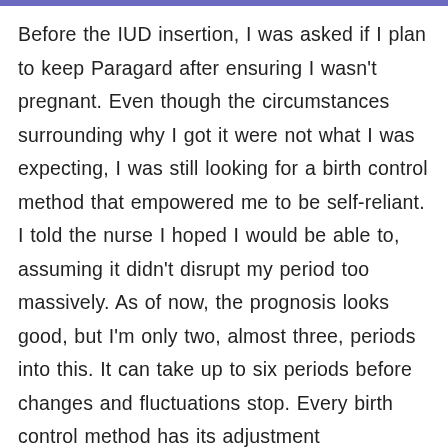Before the IUD insertion, I was asked if I plan to keep Paragard after ensuring I wasn't pregnant. Even though the circumstances surrounding why I got it were not what I was expecting, I was still looking for a birth control method that empowered me to be self-reliant. I told the nurse I hoped I would be able to, assuming it didn't disrupt my period too massively. As of now, the prognosis looks good, but I'm only two, almost three, periods into this. It can take up to six periods before changes and fluctuations stop. Every birth control method has its adjustment